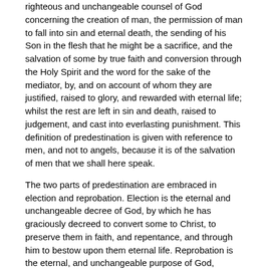righteous and unchangeable counsel of God concerning the creation of man, the permission of man to fall into sin and eternal death, the sending of his Son in the flesh that he might be a sacrifice, and the salvation of some by true faith and conversion through the Holy Spirit and the word for the sake of the mediator, by, and on account of whom they are justified, raised to glory, and rewarded with eternal life; whilst the rest are left in sin and death, raised to judgement, and cast into everlasting punishment. This definition of predestination is given with reference to men, and not to angels, because it is of the salvation of men that we shall here speak.
The two parts of predestination are embraced in election and reprobation. Election is the eternal and unchangeable decree of God, by which he has graciously decreed to convert some to Christ, to preserve them in faith, and repentance, and through him to bestow upon them eternal life. Reprobation is the eternal, and unchangeable purpose of God, whereby he has decreed in his most just judgement to leave some in their sins, to punish them with blindness, and to condemn them eternally, not being made par takers of Christ, and his benefits. That both election and reprobation are the decree of God, these and similar declarations of Scripture prove: "I know whom I have chosen." "According to his grace which was given us in Christ Jesus, before the world began." "He hath mercy on whom he will." (John 13:18. 2 Tim. 1:9. Rom. 9:18.) Election and reprobation were, therefore, made with counsel; and hence each is the decree of God, and for this reason eternal: because there is nothing new in God, but all things are from everlasting, or before the foundation of the world. In as much now